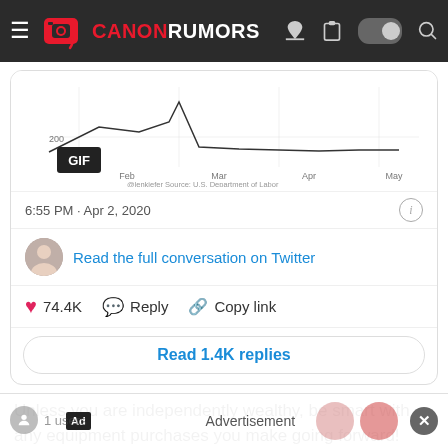CANONRUMORS
[Figure (screenshot): Partial line chart screenshot (GIF) showing unemployment data from Feb to May, with @lenkiefer Source: U.S. Department of Labor attribution]
6:55 PM · Apr 2, 2020
Read the full conversation on Twitter
74.4K  Reply  Copy link
Read 1.4K replies
Unless you are independently wealthy, be smart with any equipment purchases you make going forward! This is going to take years to recover from.
Advertisement